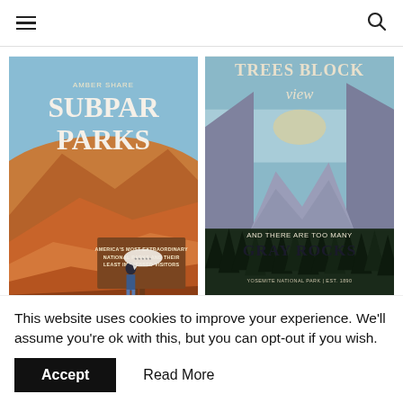☰ [search icon]
[Figure (illustration): Book cover: Subpar Parks by Amber Share. Illustrated cover with red rock desert landscape, a figure reading a review speech bubble, and a brown sign reading 'America's Most Extraordinary National Parks and Their Least Impressed Visitors']
[Figure (illustration): Illustrated vintage-style poster: 'Trees Block View and There Are Too Many Gray Rocks' — Yosemite National Park | Est. 1890, with mountain valley and forest silhouette]
This website uses cookies to improve your experience. We'll assume you're ok with this, but you can opt-out if you wish.
Accept   Read More